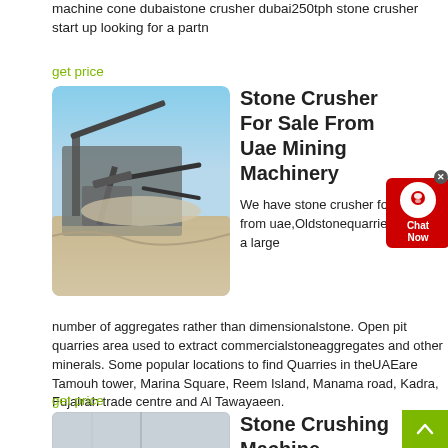machine cone dubaistone crusher dubai250tph stone crusher start up looking for a partn
get price
[Figure (photo): Industrial stone crushing machinery at an open pit quarry site, with conveyor belts and dust visible]
Stone Crusher For Sale From Uae Mining Machinery
We have stone crusher for sale from uae,Oldstonequarries produce a large number of aggregates rather than dimensionalstone. Open pit quarries area used to extract commercialstoneaggregates and other minerals. Some popular locations to find Quarries in theUAEare Tamouh tower, Marina Square, Reem Island, Manama road, Kadra, Fujairah trade centre and Al Tawayaeen.
get price
[Figure (photo): Stone crushing machine, partial view showing industrial equipment]
Stone Crushing Machine Usedstone